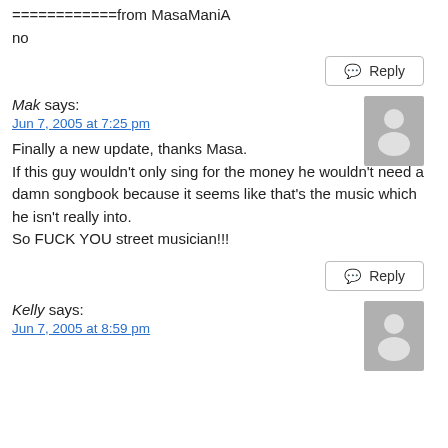============from MasaManiA
no
Reply
Mak says:
Jun 7, 2005 at 7:25 pm
Finally a new update, thanks Masa.
If this guy wouldn't only sing for the money he wouldn't need a damn songbook because it seems like that's the music which he isn't really into.
So FUCK YOU street musician!!!
Reply
Kelly says:
Jun 7, 2005 at 8:59 pm